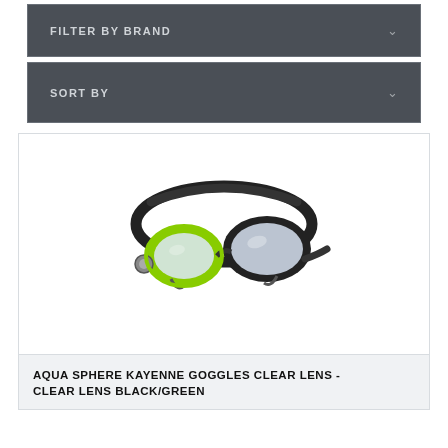FILTER BY BRAND
SORT BY
[Figure (photo): Aqua Sphere Kayenne swimming goggles with clear lenses and black/green frame, shown at an angle on white background]
AQUA SPHERE KAYENNE GOGGLES CLEAR LENS - CLEAR LENS BLACK/GREEN